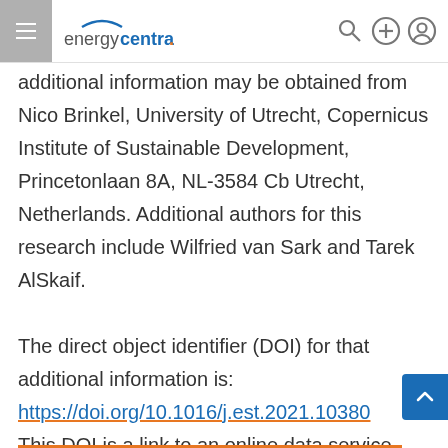energycentral.
additional information may be obtained from Nico Brinkel, University of Utrecht, Copernicus Institute of Sustainable Development, Princetonlaan 8A, NL-3584 Cb Utrecht, Netherlands. Additional authors for this research include Wilfried van Sark and Tarek AlSkaif.
The direct object identifier (DOI) for that additional information is: https://doi.org/10.1016/j.est.2021.10380
This DOI is a link to an online data service...